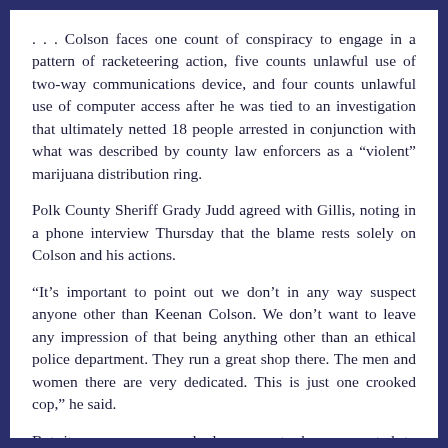. . . Colson faces one count of conspiracy to engage in a pattern of racketeering action, five counts unlawful use of two-way communications device, and four counts unlawful use of computer access after he was tied to an investigation that ultimately netted 18 people arrested in conjunction with what was described by county law enforcers as a “violent” marijuana distribution ring.
Polk County Sheriff Grady Judd agreed with Gillis, noting in a phone interview Thursday that the blame rests solely on Colson and his actions.
“It’s important to point out we don’t in any way suspect anyone other than Keenan Colson. We don’t want to leave any impression of that being anything other than an ethical police department. They run a great shop there. The men and women there are very dedicated. This is just one crooked cop,” he said.
But it was one cop nobody seems to have expected to compromise the integrity and safety of his fellow police officers.